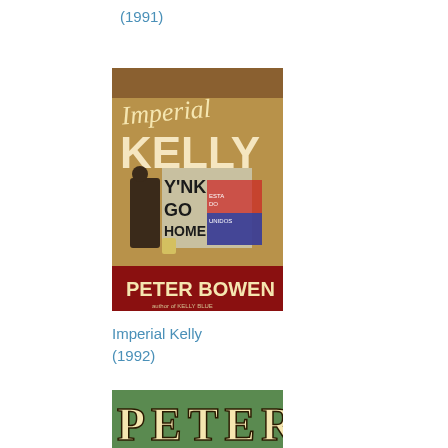(1991)
[Figure (illustration): Book cover of 'Imperial Kelly' by Peter Bowen, showing a man in front of a brick wall with graffiti reading 'YANKS GO HOME' and text about 'Estados Unidos', with the author name 'PETER BOWEN' at the bottom and subtitle 'author of KELLY BLUE']
Imperial Kelly
(1992)
[Figure (illustration): Partial book cover showing 'PETER' in decorative letters on a green background, the bottom portion of another Peter Bowen book cover]